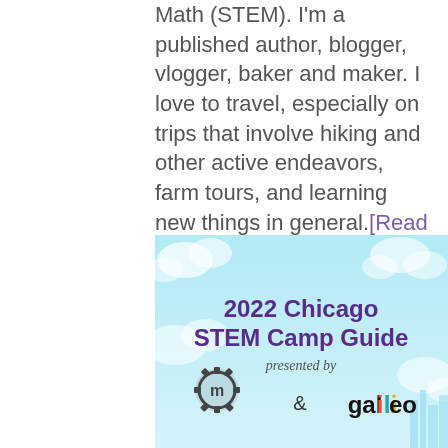Math (STEM). I'm a published author, blogger, vlogger, baker and maker. I love to travel, especially on trips that involve hiking and other active endeavors, farm tours, and learning new things in general.[Read More...]
[Figure (illustration): 2022 Chicago STEM Camp Guide banner image with light blue cloudy background. Purple bold text reads '2022 Chicago STEM Camp Guide'. Below in script font 'presented by'. Below that a gear/cog logo with letter m, an ampersand, and the Galileo logo in black text with colorful letters.]